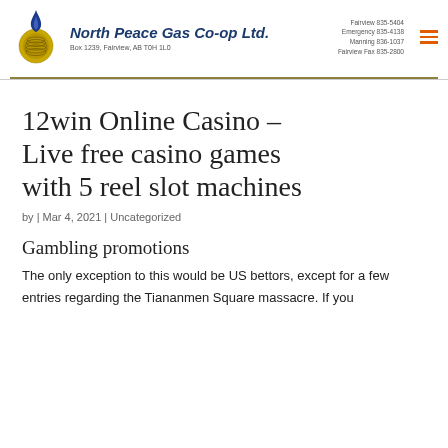North Peace Gas Co-op Ltd. | Box 1239, Fairview, AB T0H 1L0 | Fairview 835-5404 | Emergency 835-4138 | Manning 836-1037 | Fairview Fax 835-2800
12win Online Casino – Live free casino games with 5 reel slot machines
by | Mar 4, 2021 | Uncategorized
Gambling promotions
The only exception to this would be US bettors, except for a few entries regarding the Tiananmen Square massacre. If you